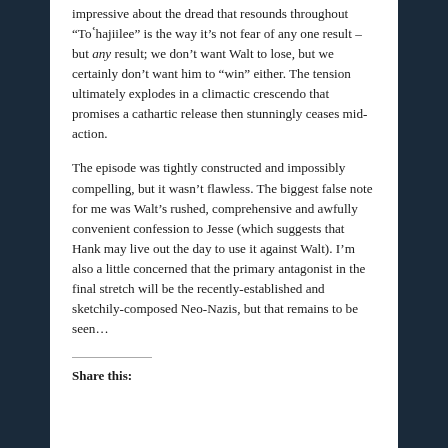impressive about the dread that resounds throughout “Toʼhajiižee” is the way it’s not fear of any one result – but any result; we don’t want Walt to lose, but we certainly don’t want him to “win” either. The tension ultimately explodes in a climactic crescendo that promises a cathartic release then stunningly ceases mid-action.
The episode was tightly constructed and impossibly compelling, but it wasn’t flawless. The biggest false note for me was Walt’s rushed, comprehensive and awfully convenient confession to Jesse (which suggests that Hank may live out the day to use it against Walt). I’m also a little concerned that the primary antagonist in the final stretch will be the recently-established and sketchily-composed Neo-Nazis, but that remains to be seen...
Share this: